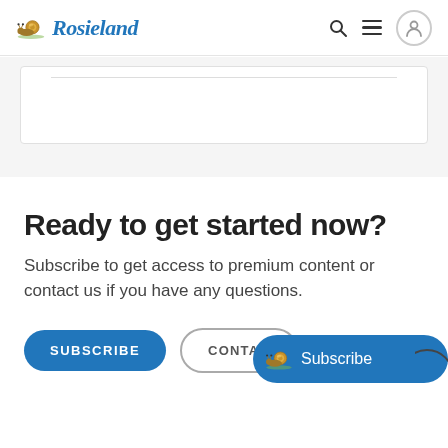Rosieland
[Figure (screenshot): Gray section with white card content area below header]
Ready to get started now?
Subscribe to get access to premium content or contact us if you have any questions.
SUBSCRIBE | CONTACT (partially visible) | Subscribe (floating button with snail emoji)